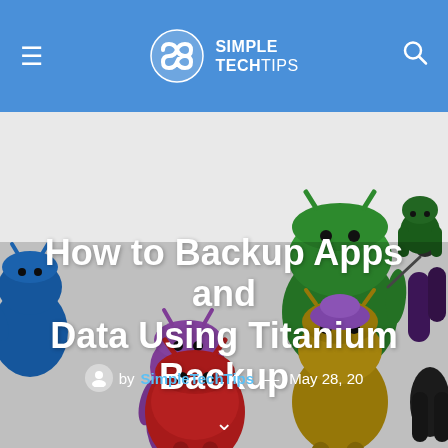Simple TechTips
[Figure (photo): Multiple colorful 3D Android robot figures on a light background — blue, purple, green, red, gold, black, dark green variants in various poses]
How to Backup Apps and Data Using Titanium Backup
by SimpleTechTips — May 28, 20...